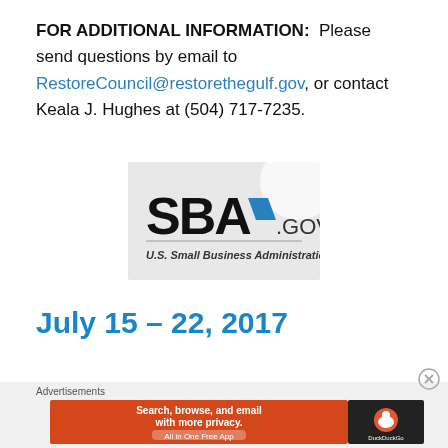FOR ADDITIONAL INFORMATION:  Please send questions by email to RestoreCouncil@restorethegulf.gov, or contact Keala J. Hughes at (504) 717-7235.
[Figure (logo): SBA.gov — U.S. Small Business Administration logo on light gray background]
July 15 – 22, 2017
Advertisements
[Figure (other): DuckDuckGo advertisement banner: Search, browse, and email with more privacy. All in One Free App.]